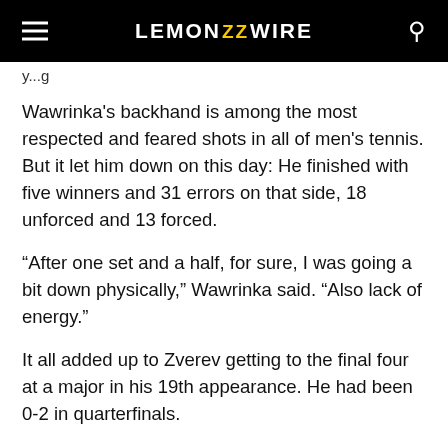LEMON ZZ WIRE
y...g
Wawrinka's backhand is among the most respected and feared shots in all of men's tennis. But it let him down on this day: He finished with five winners and 31 errors on that side, 18 unforced and 13 forced.
“After one set and a half, for sure, I was going a bit down physically,” Wawrinka said. “Also lack of energy.”
It all added up to Zverev getting to the final four at a major in his 19th appearance. He had been 0-2 in quarterfinals.
“The Grand Slams were always the week where I kind of even wanted it too much. I was doing things, in a way,